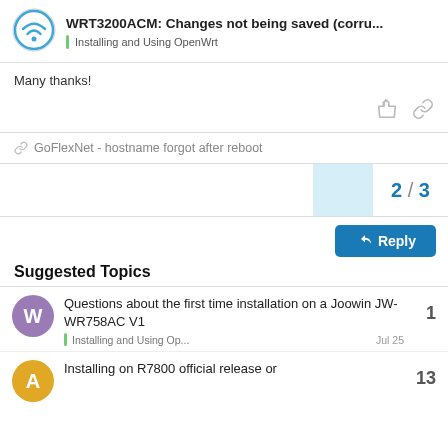WRT3200ACM: Changes not being saved (corru... | Installing and Using OpenWrt
Many thanks!
GoFlexNet - hostname forgot after reboot
2 / 3
Reply
Suggested Topics
Questions about the first time installation on a Joowin JW-WR758AC V1 | Installing and Using Op... | Jul 25 | 1
Installing on R7800 official release or | 13